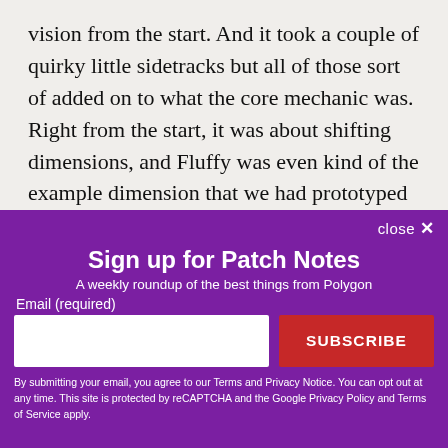vision from the start. And it took a couple of quirky little sidetracks but all of those sort of added on to what the core mechanic was. Right from the start, it was about shifting dimensions, and Fluffy was even kind of the example dimension that we had prototyped first. It's in the end game, so it was pretty focused and
[Figure (screenshot): Email newsletter signup overlay with purple background. Title: 'Sign up for Patch Notes'. Subtitle: 'A weekly roundup of the best things from Polygon'. Email input field and SUBSCRIBE button. Disclaimer text about Terms and Privacy Notice.]